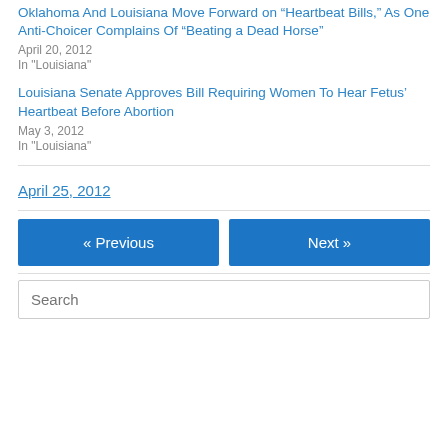Oklahoma And Louisiana Move Forward on “Heartbeat Bills,” As One Anti-Choicer Complains Of “Beating a Dead Horse”
April 20, 2012
In "Louisiana"
Louisiana Senate Approves Bill Requiring Women To Hear Fetus’ Heartbeat Before Abortion
May 3, 2012
In "Louisiana"
April 25, 2012
« Previous
Next »
Search